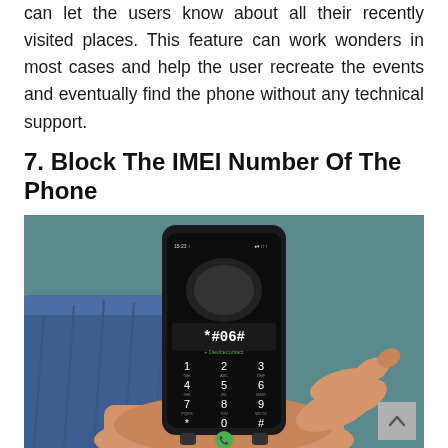can let the users know about all their recently visited places. This feature can work wonders in most cases and help the user recreate the events and eventually find the phone without any technical support.
7. Block The IMEI Number Of The Phone
[Figure (photo): A person's hand holding a black smartphone showing the dialer screen with *#06# entered and the + Devicecontact label visible. The phone keypad shows numbers 1-9, *, 0, #. Background shows jeans and a teal/grey surface.]